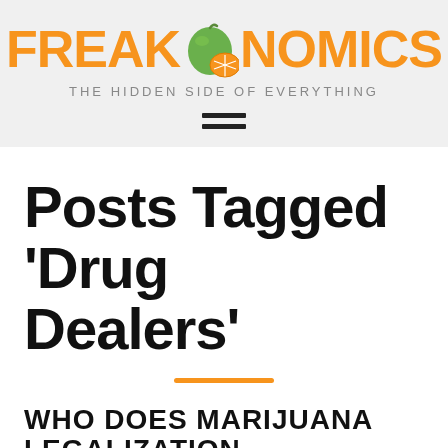FREAKONOMICS — THE HIDDEN SIDE OF EVERYTHING
Posts Tagged ‘Drug Dealers’
WHO DOES MARIJUANA LEGALIZATION